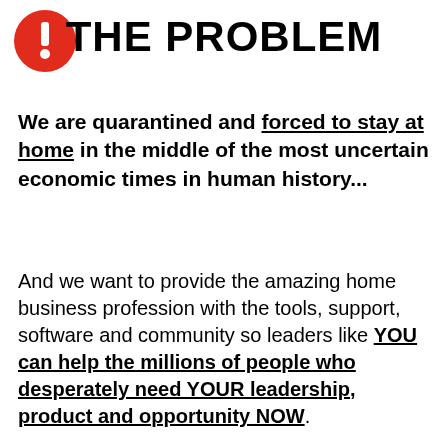[Figure (illustration): Red circle with white exclamation mark icon in top-left corner]
THE PROBLEM
We are quarantined and forced to stay at home in the middle of the most uncertain economic times in human history...
And we want to provide the amazing home business profession with the tools, support, software and community so leaders like YOU can help the millions of people who desperately need YOUR leadership, product and opportunity NOW.